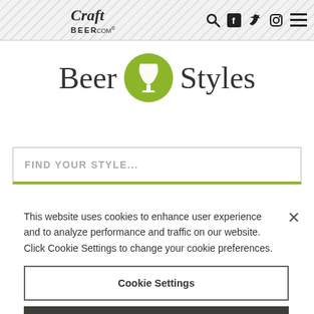[Figure (logo): CraftBeer.com logo — handwritten-style 'Craft' text above 'BEER.COM' in a rectangular header with diagonal stripe background pattern, with search, social media (Facebook, Twitter, Instagram) icons and hamburger menu on the right]
Beer Styles
FIND YOUR STYLE...
This website uses cookies to enhance user experience and to analyze performance and traffic on our website. Click Cookie Settings to change your cookie preferences.
Cookie Settings
Reject All
Accept All Cookies